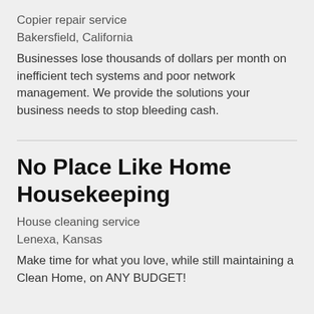Copier repair service
Bakersfield, California
Businesses lose thousands of dollars per month on inefficient tech systems and poor network management. We provide the solutions your business needs to stop bleeding cash.
No Place Like Home Housekeeping
House cleaning service
Lenexa, Kansas
Make time for what you love, while still maintaining a Clean Home, on ANY BUDGET!